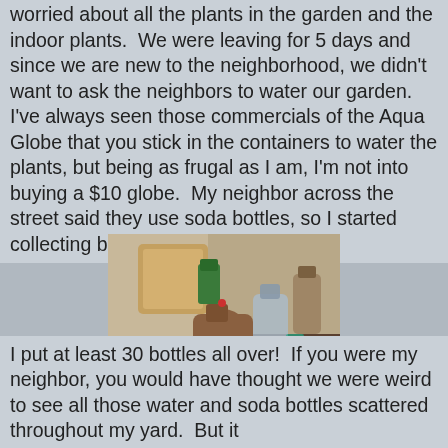worried about all the plants in the garden and the indoor plants.  We were leaving for 5 days and since we are new to the neighborhood, we didn't want to ask the neighbors to water our garden.  I've always seen those commercials of the Aqua Globe that you stick in the containers to water the plants, but being as frugal as I am, I'm not into buying a $10 globe.  My neighbor across the street said they use soda bottles, so I started collecting bottles like crazy.  LOL.
[Figure (photo): A collection of many soda and water bottles of various sizes grouped together on a floor, including large gallon jugs and smaller plastic bottles.]
I put at least 30 bottles all over!  If you were my neighbor, you would have thought we were weird to see all those water and soda bottles scattered throughout my yard.  But it